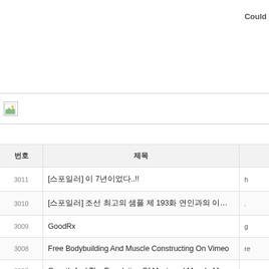Could
[Figure (other): Broken image placeholder icon with small colored icon in top-left corner]
| 번호 | 제목 |  |
| --- | --- | --- |
| 3011 | [스포일러] 이 7년이었다..!! | h |
| 3010 | [스포일러] 조선 최고의 샘플 제 193화 연인과의 이별이야(12/4, 조선최고의 샘플 이런저런) | . |
| 3009 | GoodRx | g |
| 3008 | Free Bodybuilding And Muscle Constructing On Vimeo | re |
| 3007 | Growth And The Regulation Of Myotomal Muscle Mass In Teleost Fish | es |